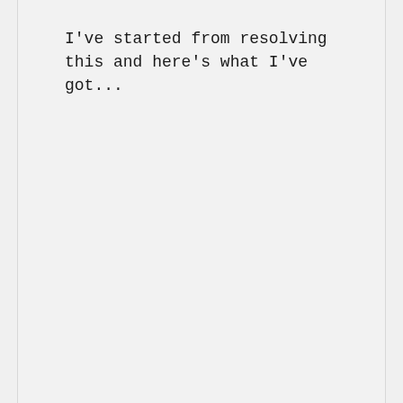I've started from resolving this and here's what I've got...